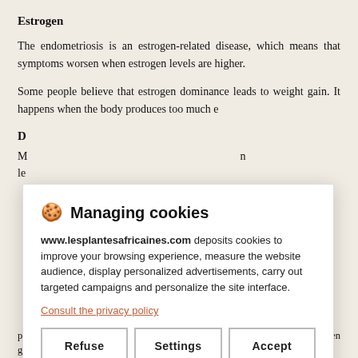Estrogen
The endometriosis is an estrogen-related disease, which means that symptoms worsen when estrogen levels are higher.
Some people believe that estrogen dominance leads to weight gain. It happens when the body produces too much e
D
M le n
O a sy e sl
H h progesterone. According to a 2016 Trusted Source study, 40 to 50% of women gain weight or retain water with
[Figure (screenshot): Cookie consent dialog for www.lesplantesafricaines.com with title 'Managing cookies', description text, privacy policy link, and three buttons: Refuse, Settings, Accept]